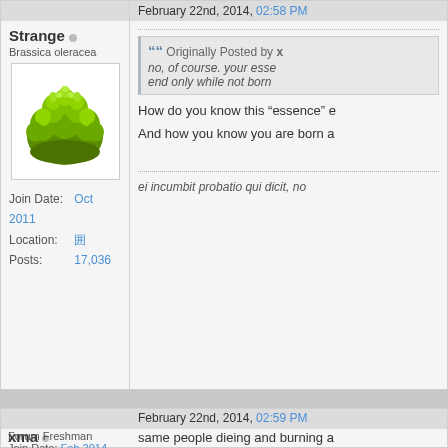Strange ○
Brassica oleracea
Join Date: Oct 2011
Location: 囲
Posts: 17,036
February 22nd, 2014, 02:58 PM
Originally Posted by x
no, of course. your esse
end only while not born
How do you know this "essence" e
And how you know you are born a
ei incumbit probatio qui dicit, no
xma ○
Forum Freshman
Join Date: Feb 2014
February 22nd, 2014, 02:59 PM
same people dieing and burning a